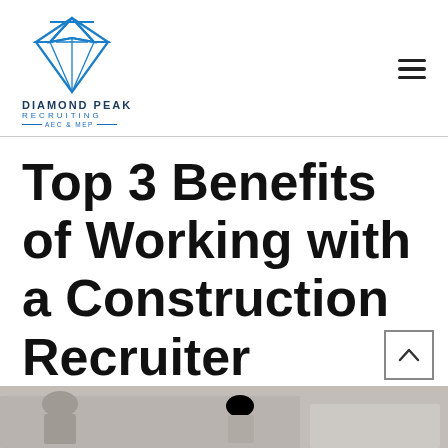[Figure (logo): Diamond Peak Recruiting AEC & MEP logo with diamond gem icon in blue, company name below]
Top 3 Benefits of Working with a Construction Recruiter
[Figure (photo): Photo strip at bottom showing people in a meeting or professional setting, partially visible]